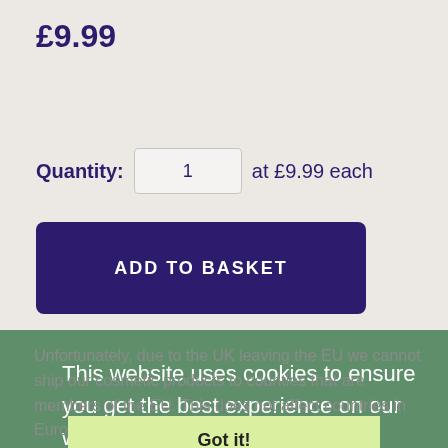£9.99
Quantity:  1  at £9.99 each
ADD TO BASKET
This website uses cookies to ensure you get the best experience on our website.
Learn more.
Got it!
Unfortunately, due to the UK leaving the EU we cannot ship our cosmetic products to counties that are members of the EU. This does not affect countries in Europe who are not part of the EU.